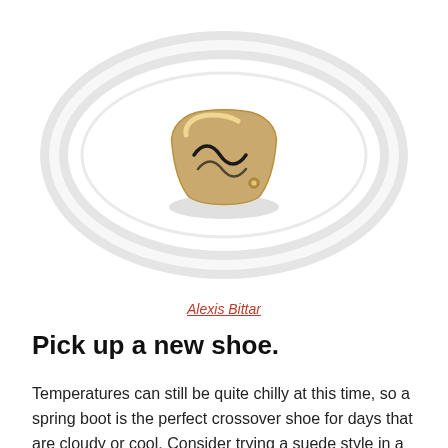[Figure (photo): A clear lucite/acrylic ring bangle with a gold-toned sculptural clasp or charm element featuring black squiggle/wave details, photographed on a white background.]
Alexis Bittar
Pick up a new shoe.
Temperatures can still be quite chilly at this time, so a spring boot is the perfect crossover shoe for days that are cloudy or cool. Consider trying a suede style in a soft neutral shade like light grey, putty, or off-white. On warmer days, you'll enjoy showing off your ankles with a loafer or other flat in a metallic finish. Of course, for a walk on the wild side, a flat in a zebra or leopard print never goes out of style.